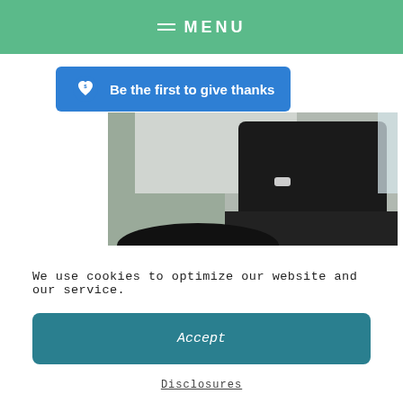MENU
Be the first to give thanks
[Figure (photo): Interior view of a car showing a black headrest/seat back and dashboard area from a low angle]
We use cookies to optimize our website and our service.
Accept
Disclosures